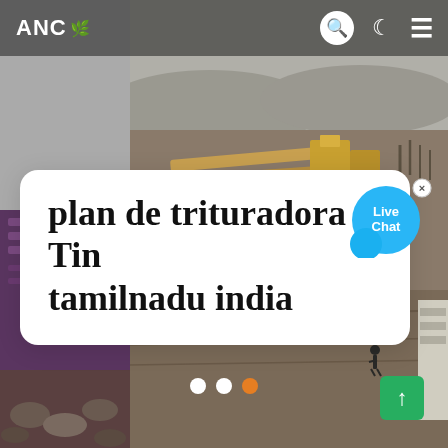ANC
[Figure (photo): Aerial view of a stone crushing / quarry industrial site with conveyor belts and machinery, hazy landscape, plus a purple industrial machinery panel on the left side and rocks at the bottom.]
plan de trituradora Tin tamilnadu india
[Figure (infographic): Live Chat bubble overlay in blue]